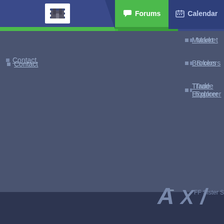Forums | Calendar
Contact
Market
Brokers
Trade Explorer
FF Sister Sites:
Forex Factory® is a brand of Fair Economy, Inc. Terms of Service / ©2022